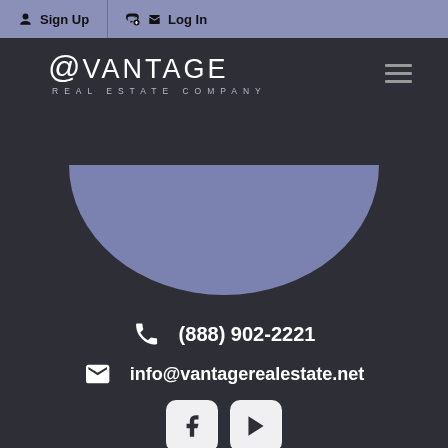Sign Up   Log In
[Figure (logo): @VANTAGE REAL ESTATE COMPANY logo with hamburger menu icon]
[Figure (illustration): Blue-grey bowl/profile shape on dark background]
(888) 902-2221
info@vantagerealestate.net
[Figure (other): Facebook and YouTube social media icons]